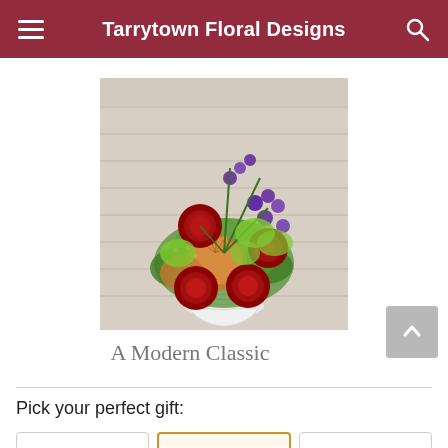Tarrytown Floral Designs
[Figure (photo): Floral arrangement in a white vase featuring red roses, purple flowers, orange pincushion proteas, and green foliage against a white wood plank background]
A Modern Classic
Pick your perfect gift: